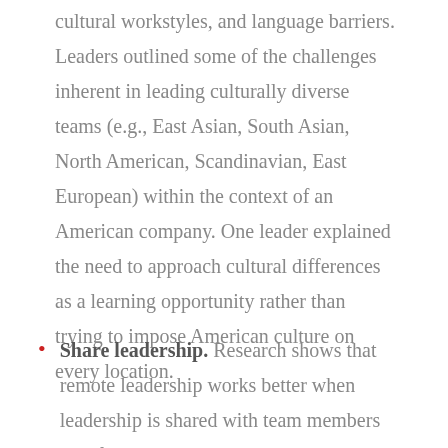cultural workstyles, and language barriers. Leaders outlined some of the challenges inherent in leading culturally diverse teams (e.g., East Asian, South Asian, North American, Scandinavian, East European) within the context of an American company. One leader explained the need to approach cultural differences as a learning opportunity rather than trying to impose American culture on every location.
Share leadership. Research shows that remote leadership works better when leadership is shared with team members or informal